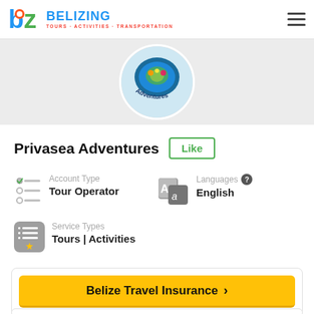[Figure (logo): Belizing logo with bz letters and toucan icon, subtitle: TOURS · ACTIVITIES · TRANSPORTATION]
[Figure (photo): Circular logo/badge for Privasea Adventures showing colorful sea creatures and the text Adventures]
Privasea Adventures
Like
Account Type
Tour Operator
Languages
English
Service Types
Tours | Activities
Belize Travel Insurance >